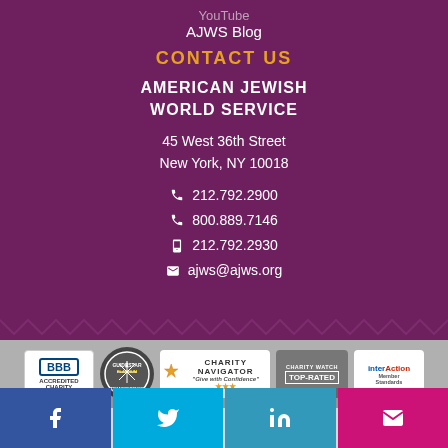YouTube
AJWS Blog
CONTACT US
AMERICAN JEWISH WORLD SERVICE
45 West 36th Street
New York, NY 10018
212.792.2900
800.889.7146
212.792.2930
ajws@ajws.org
[Figure (logo): Row of charity accreditation logos: BBB Accredited Charity, GuideStar Platinum Transparency, Charity Navigator Give with Confidence (3 stars), Charity Watch Top-Rated, InterAction Member Standards]
[Figure (infographic): Social media icon bar: Facebook (blue), Twitter (cyan), LinkedIn (teal), Email/envelope (magenta)]